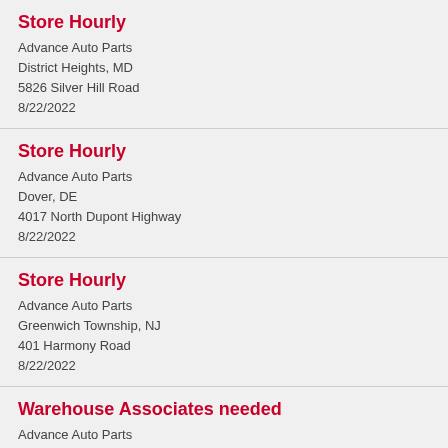Store Hourly
Advance Auto Parts
District Heights, MD
5826 Silver Hill Road
8/22/2022
Store Hourly
Advance Auto Parts
Dover, DE
4017 North Dupont Highway
8/22/2022
Store Hourly
Advance Auto Parts
Greenwich Township, NJ
401 Harmony Road
8/22/2022
Warehouse Associates needed
Advance Auto Parts
Montgomery, AL
8/22/2022
Warehouse Associate